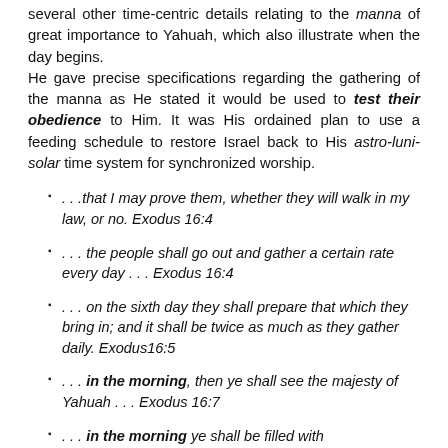several other time-centric details relating to the manna of great importance to Yahuah, which also illustrate when the day begins.
He gave precise specifications regarding the gathering of the manna as He stated it would be used to test their obedience to Him. It was His ordained plan to use a feeding schedule to restore Israel back to His astro-luni-solar time system for synchronized worship.
. . .that I may prove them, whether they will walk in my law, or no. Exodus 16:4
. . . the people shall go out and gather a certain rate every day . . . Exodus 16:4
. . . on the sixth day they shall prepare that which they bring in; and it shall be twice as much as they gather daily. Exodus16:5
. . . in the morning, then ye shall see the majesty of Yahuah . . . Exodus 16:7
. . . in the morning ye shall be filled with